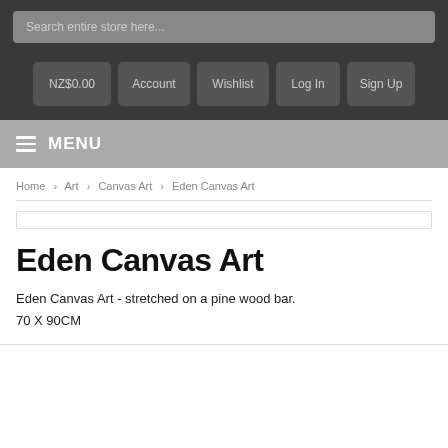Search entire store here...
NZ$0.00 | Account | Wishlist | Log In | Sign Up
MENU
Home > Art > Canvas Art > Eden Canvas Art
Eden Canvas Art
Eden Canvas Art - stretched on a pine wood bar.
70 X 90CM